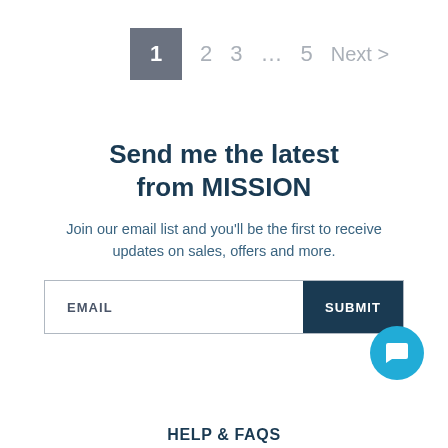1  2  3  …  5  Next >
Send me the latest from MISSION
Join our email list and you'll be the first to receive updates on sales, offers and more.
EMAIL  SUBMIT
HELP & FAQS